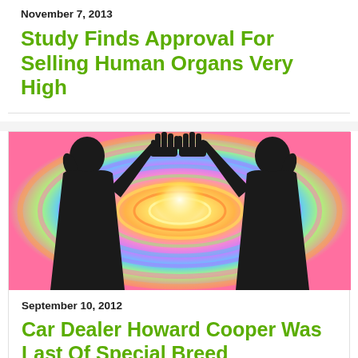November 7, 2013
Study Finds Approval For Selling Human Organs Very High
[Figure (illustration): Two silhouetted figures facing each other with hands raised touching palm-to-palm, against a colorful swirling psychedelic background of orange, pink, purple, and green concentric waves with bright light in the center.]
September 10, 2012
Car Dealer Howard Cooper Was Last Of Special Breed